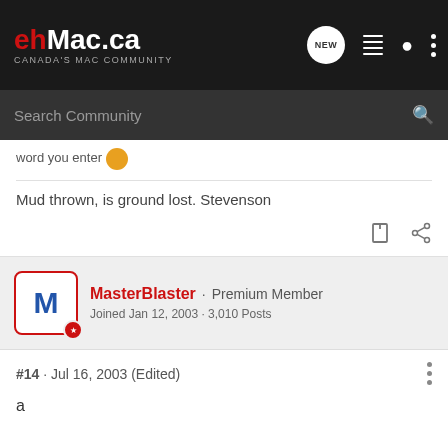ehMac.ca — Canada's Mac Community
Search Community
Mud thrown, is ground lost. Stevenson
MasterBlaster · Premium Member
Joined Jan 12, 2003 · 3,010 Posts
#14 · Jul 16, 2003 (Edited)
a